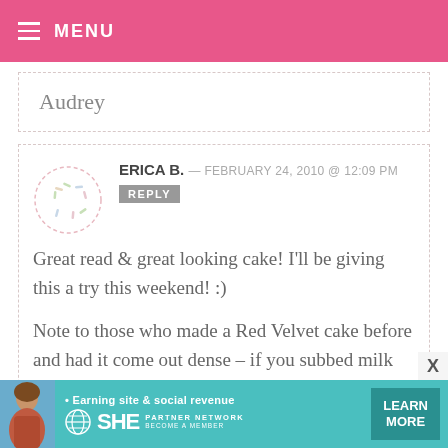MENU
Audrey
ERICA B. — FEBRUARY 24, 2010 @ 12:09 PM
REPLY

Great read & great looking cake! I'll be giving this a try this weekend! :)

Note to those who made a Red Velvet cake before and had it come out dense – if you subbed milk for the buttermilk the recipe called for there wasn't
[Figure (infographic): SHE Partner Network advertisement banner at the bottom with a woman photo, tagline 'Earning site & social revenue', SHE logo, PARTNER NETWORK text, BECOME A MEMBER, and LEARN MORE button]